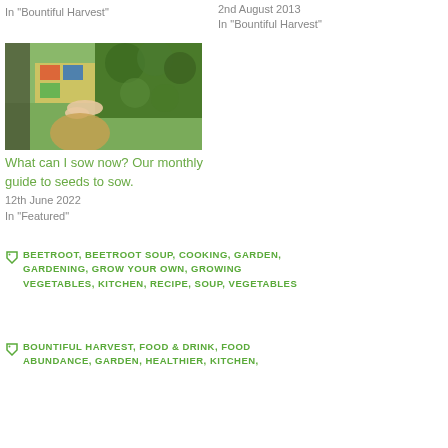In "Bountiful Harvest"
2nd August 2013
In "Bountiful Harvest"
[Figure (photo): Overhead view of a child looking at seed packets surrounded by green leafy plants]
What can I sow now? Our monthly guide to seeds to sow.
12th June 2022
In "Featured"
BEETROOT, BEETROOT SOUP, COOKING, GARDEN, GARDENING, GROW YOUR OWN, GROWING VEGETABLES, KITCHEN, RECIPE, SOUP, VEGETABLES
BOUNTIFUL HARVEST, FOOD & DRINK, FOOD ABUNDANCE, GARDEN, HEALTHIER, KITCHEN,